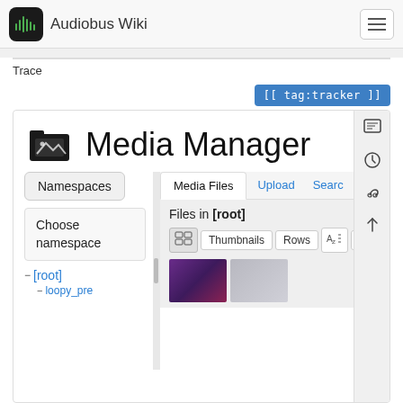Audiobus Wiki
Trace
[[ tag:tracker ]]
Media Manager
Namespaces
Choose namespace
Media Files | Upload | Search
Files in [root]
Thumbnails | Rows | Name
[root]
loopy_pre